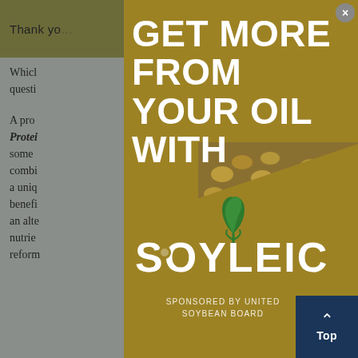Thank you  ...ools you
Which  questi
A pro Protein  e us some  combi r, and a uniq you benefi vide an alte nutrie reform
[Figure (other): Modal advertisement overlay for Soyleic brand. Gold background with large white bold text 'GET MORE FROM YOUR OUR OIL WITH' and the Soyleic logo featuring a green plant sprout. Bottom portion shows a close-up photo of soybeans. Text at bottom reads 'SPONSORED BY UNITED SOYBEAN BOARD'. Close button (×) in top right of modal.]
[Figure (other): Back to top navigation button in dark navy blue, bottom right corner, showing upward chevron arrow and 'Top' text]